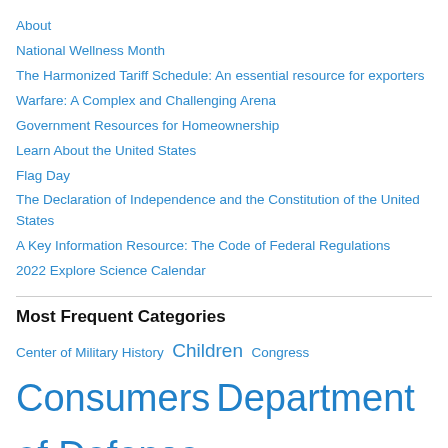About
National Wellness Month
The Harmonized Tariff Schedule: An essential resource for exporters
Warfare: A Complex and Challenging Arena
Government Resources for Homeownership
Learn About the United States
Flag Day
The Declaration of Independence and the Constitution of the United States
A Key Information Resource: The Code of Federal Regulations
2022 Explore Science Calendar
Most Frequent Categories
Center of Military History  Children  Congress  Consumers  Department of Defense  Department of Health & Human Services  Department of the